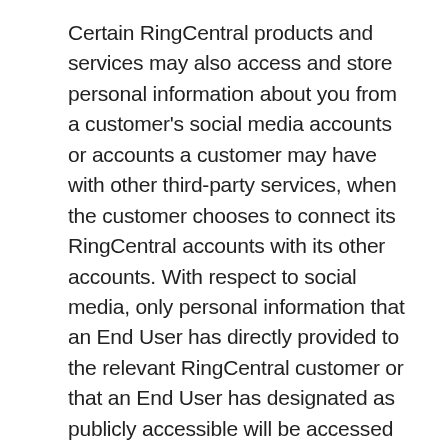Certain RingCentral products and services may also access and store personal information about you from a customer's social media accounts or accounts a customer may have with other third-party services, when the customer chooses to connect its RingCentral accounts with its other accounts. With respect to social media, only personal information that an End User has directly provided to the relevant RingCentral customer or that an End User has designated as publicly accessible will be accessed or stored. We use this information in connection with providing our Services to our clients. For example, we use this information to enable RingCentral customers to respond to social media posts and messages from within their RingCentral accounts, and to enable RingCentral customers to track and analyze their interactions